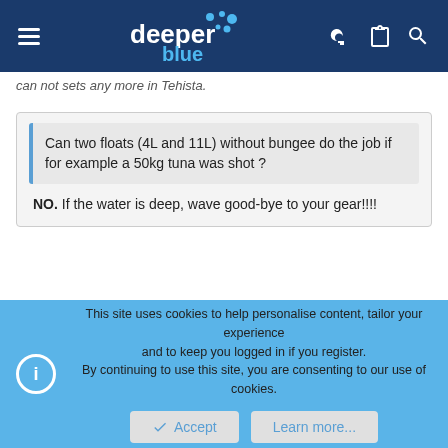deeper blue (navigation header)
can not sets any more in Tehista.
Can two floats (4L and 11L) without bungee do the job if for example a 50kg tuna was shot ?
NO. If the water is deep, wave good-bye to your gear!!!!
So what volume would you advise?
I've heard of guys hunting in spain with four 25L floats. Isn't that a bit much? Or should one simply get as big a float volume as possible (dividing it into many floats, the smaller floats first)?
This site uses cookies to help personalise content, tailor your experience and to keep you logged in if you register.
By continuing to use this site, you are consenting to our use of cookies.